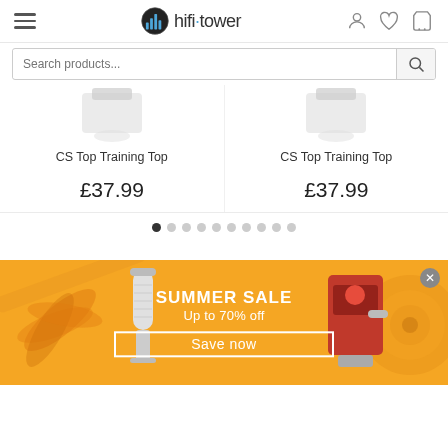hifi tower
Search products...
CS Top Training Top £37.99
CS Top Training Top £37.99
[Figure (screenshot): Carousel dot pagination: 10 dots, first dot filled/active]
[Figure (infographic): Summer Sale banner - yellow/orange background with palm leaf decoration, microphone and espresso machine images. Text: SUMMER SALE, Up to 70% off, Save now. Close button top right.]